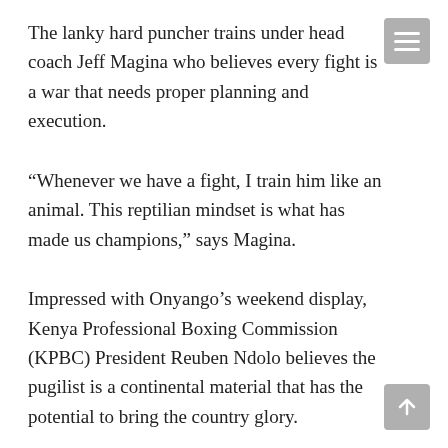The lanky hard puncher trains under head coach Jeff Magina who believes every fight is a war that needs proper planning and execution.
“Whenever we have a fight, I train him like an animal. This reptilian mindset is what has made us champions,” says Magina.
Impressed with Onyango’s weekend display, Kenya Professional Boxing Commission (KPBC) President Reuben Ndolo believes the pugilist is a continental material that has the potential to bring the country glory.